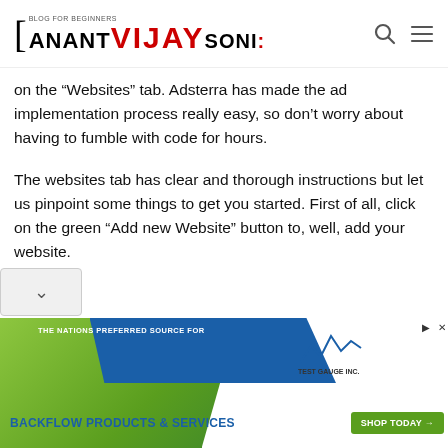ANANT VIJAY SONI: [Blog for Beginners]
on the “Websites” tab. Adsterra has made the ad implementation process really easy, so don’t worry about having to fumble with code for hours.
The websites tab has clear and thorough instructions but let us pinpoint some things to get you started. First of all, click on the green “Add new Website” button to, well, add your website.
[Figure (screenshot): Advertisement banner for Test Gauge Inc. featuring backflow products and services with a green background, blue diagonal stripe, company logo, and a green Shop Today button.]